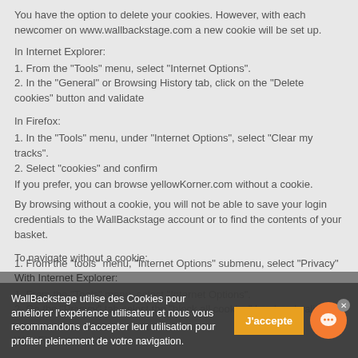You have the option to delete your cookies. However, with each newcomer on www.wallbackstage.com a new cookie will be set up.
In Internet Explorer:
1. From the "Tools" menu, select "Internet Options".
2. In the "General" or Browsing History tab, click on the "Delete cookies" button and validate
In Firefox:
1. In the "Tools" menu, under "Internet Options", select "Clear my tracks".
2. Select "cookies" and confirm
If you prefer, you can browse yellowKorner.com without a cookie.
By browsing without a cookie, you will not be able to save your login credentials to the WallBackstage account or to find the contents of your basket.
To navigate without a cookie:
With Internet Explorer:
1. From the "Tools" menu, select "Internet Options".
2. On the "Privacy" tab select the "block all cookies" level and validate
With Firefox:
1. From the "tools" menu, "Internet Options" submenu, select "Privacy"